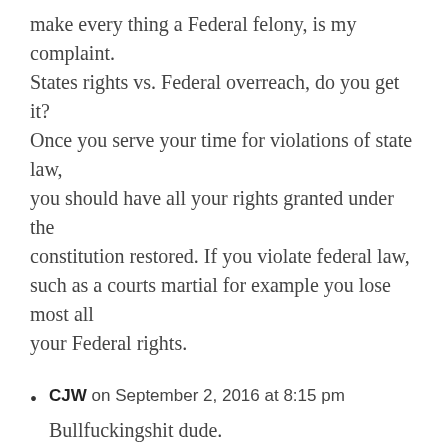make every thing a Federal felony, is my complaint.
States rights vs. Federal overreach, do you get it?
Once you serve your time for violations of state law,
you should have all your rights granted under the
constitution restored. If you violate federal law,
such as a courts martial for example you lose most all
your Federal rights.
CJW on September 2, 2016 at 8:15 pm
Bullfuckingshit dude.

State/County Felonies count to remove your firearms rights as well as your voting